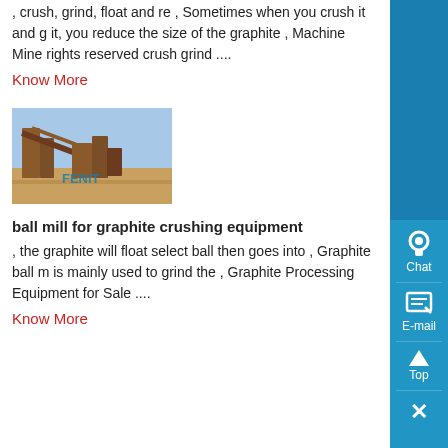, crush, grind, float and re , Sometimes when you crush it and g it, you reduce the size of the graphite , Machine Mine rights reserved crush grind ....
Know More
[Figure (photo): Mining equipment/machinery at an industrial site, branded FENIT]
ball mill for graphite crushing equipment
, the graphite will float select ball then goes into , Graphite ball m is mainly used to grind the , Graphite Processing Equipment for Sale ....
Know More